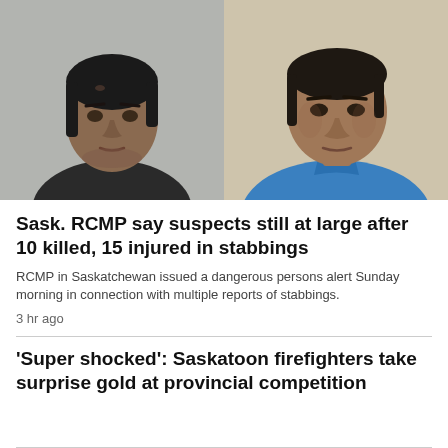[Figure (photo): Side-by-side mugshot photos of two male suspects. Left: younger man in dark shirt against grey wall. Right: older man in blue shirt against beige wall.]
Sask. RCMP say suspects still at large after 10 killed, 15 injured in stabbings
RCMP in Saskatchewan issued a dangerous persons alert Sunday morning in connection with multiple reports of stabbings.
3 hr ago
'Super shocked': Saskatoon firefighters take surprise gold at provincial competition